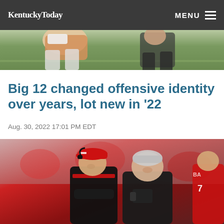KentuckyToday  MENU
[Figure (photo): Football players on field, partial view showing players in uniform running]
Big 12 changed offensive identity over years, lot new in '22
Aug. 30, 2022 17:01 PM EDT
[Figure (photo): Two football coaches in Nebraska red and black uniforms talking and smiling on sideline, one wearing headset and red cap]